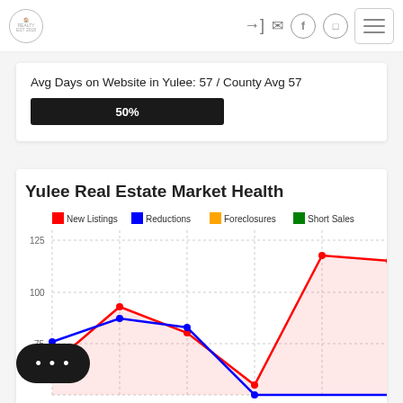Navigation header with logo and icons
Avg Days on Website in Yulee: 57 / County Avg 57
[Figure (other): Progress bar showing 50%]
Yulee Real Estate Market Health
[Figure (line-chart): Yulee Real Estate Market Health]